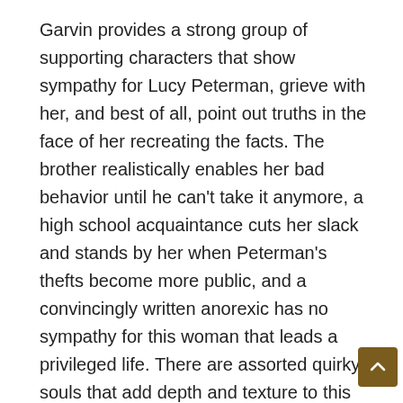Garvin provides a strong group of supporting characters that show sympathy for Lucy Peterman, grieve with her, and best of all, point out truths in the face of her recreating the facts. The brother realistically enables her bad behavior until he can't take it anymore, a high school acquaintance cuts her slack and stands by her when Peterman's thefts become more public, and a convincingly written anorexic has no sympathy for this woman that leads a privileged life. There are assorted quirky souls that add depth and texture to this beautifully written story. Even the dog in “The Dog Year,” tugs at our hearts, plays a pivotal role, and brings people together in unexpected ways. There are astonishing discoveries and changes as Peterman begins to deal with her new re…– quite satisfying in a hopeful way.